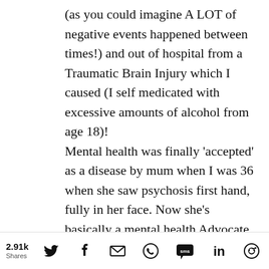(as you could imagine A LOT of negative events happened between times!) and out of hospital from a Traumatic Brain Injury which I caused (I self medicated with excessive amounts of alcohol from age 18)!
Mental health was finally ‘accepted’ as a disease by mum when I was 36 when she saw psychosis first hand, fully in her face. Now she’s basically a mental health Advocate and
2.91k Shares [social share icons: Twitter, Facebook, Email, WhatsApp, SMS, LinkedIn, Reddit]